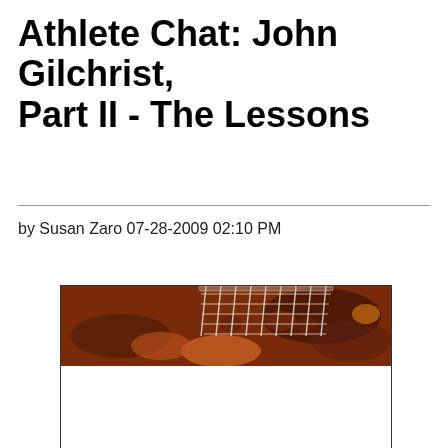Athlete Chat: John Gilchrist, Part II - The Lessons
by Susan Zaro 07-28-2009 02:10 PM
[Figure (photo): A basketball net visible at the top with a blurred crowd of spectators in the background, taken at a basketball arena. The image has warm orange and red tones. The lower portion is a white rectangle bordered in black.]